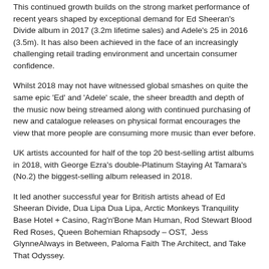This continued growth builds on the strong market performance of recent years shaped by exceptional demand for Ed Sheeran's Divide album in 2017 (3.2m lifetime sales) and Adele's 25 in 2016 (3.5m). It has also been achieved in the face of an increasingly challenging retail trading environment and uncertain consumer confidence.
Whilst 2018 may not have witnessed global smashes on quite the same epic 'Ed' and 'Adele' scale, the sheer breadth and depth of the music now being streamed along with continued purchasing of new and catalogue releases on physical format encourages the view that more people are consuming more music than ever before.
UK artists accounted for half of the top 20 best-selling artist albums in 2018, with George Ezra's double-Platinum Staying At Tamara's (No.2) the biggest-selling album released in 2018.
It led another successful year for British artists ahead of Ed Sheeran Divide, Dua Lipa Dua Lipa, Arctic Monkeys Tranquility Base Hotel + Casino, Rag'n'Bone Man Human, Rod Stewart Blood Red Roses, Queen Bohemian Rhapsody – OST,  Jess GlynneAlways in Between, Paloma Faith The Architect, and Take That Odyssey.
Seventeen of the top 30 overall were by British acts also including Sam